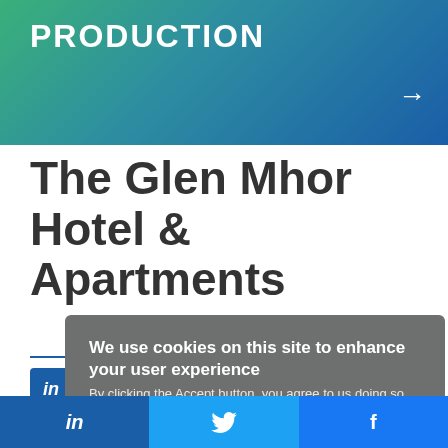PRODUCTION
The Glen Mhor Hotel & Apartments
[Figure (other): LinkedIn and Twitter social share icon buttons]
As ... restaurants around Scotland ... committed to sustainable tourism and this commitment is at the heart of our business and central to both our early planning and future developments as we look to reduce our organisation's environmental around us. The management team is proud to be leading the
We use cookies on this site to enhance your user experience
By clicking the Accept button, you agree to us doing so. More info
in  [Twitter bird]  f